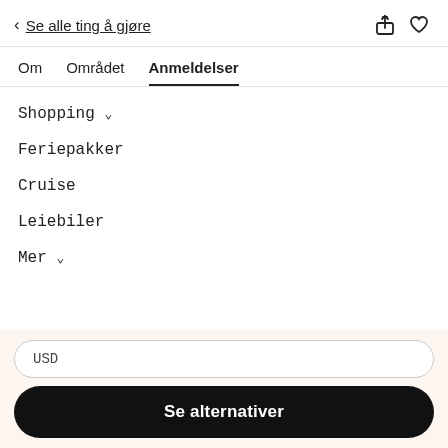< Se alle ting å gjøre
Om   Området   Anmeldelser
Shopping ∨
Feriepakker
Cruise
Leiebiler
Mer ∨
USD
Se alternativer